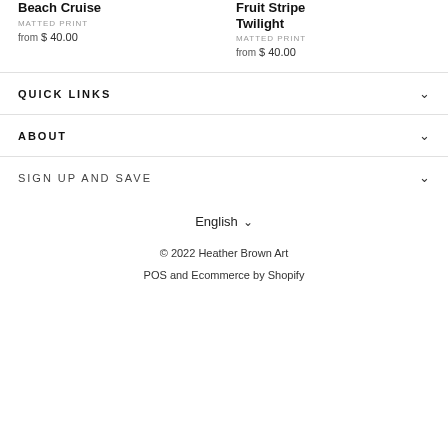Beach Cruise
MATTED PRINT
from $ 40.00
Fruit Stripe Twilight
MATTED PRINT
from $ 40.00
QUICK LINKS
ABOUT
SIGN UP AND SAVE
English
© 2022 Heather Brown Art
POS and Ecommerce by Shopify